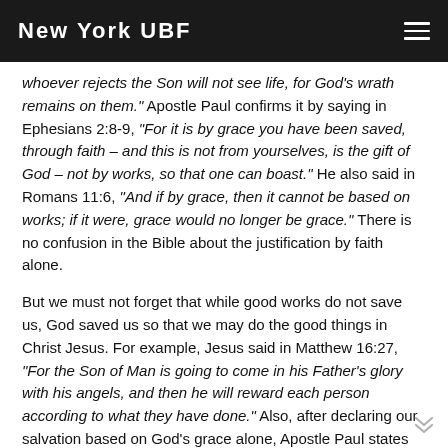New York UBF
whoever rejects the Son will not see life, for God’s wrath remains on them.” Apostle Paul confirms it by saying in Ephesians 2:8-9, “For it is by grace you have been saved, through faith – and this is not from yourselves, is the gift of God – not by works, so that one can boast.” He also said in Romans 11:6, “And if by grace, then it cannot be based on works; if it were, grace would no longer be grace.” There is no confusion in the Bible about the justification by faith alone.
But we must not forget that while good works do not save us, God saved us so that we may do the good things in Christ Jesus. For example, Jesus said in Matthew 16:27, “For the Son of Man is going to come in his Father’s glory with his angels, and then he will reward each person according to what they have done.” Also, after declaring our salvation based on God’s grace alone, Apostle Paul states that God saved us to do good works. He said in Ephesians 2:10, “For we are God’s masterpiece. He has created us anew in Christ Jesus, so we can do the good things he planned for us long ago.” (NLT) Our belief in Christ determines our